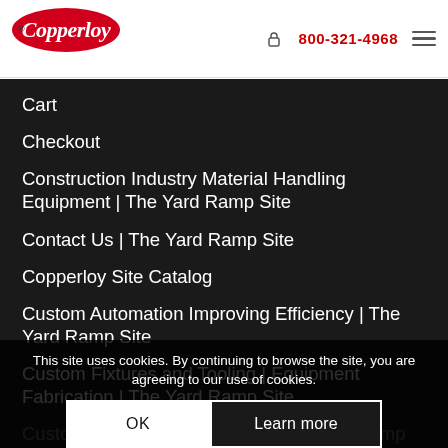Copperloy logo | 800-321-4968
Cart
Checkout
Construction Industry Material Handling Equipment | The Yard Ramp Site
Contact Us | The Yard Ramp Site
Copperloy Site Catalog
Custom Automation Improving Efficiency | The Yard Ramp Site
Custom Fixtures and Tooling | Equipment Fabrication | The Yard Ramp Site
Custom Steel Fabrication from The Yard Ramp Site
Custom-Fabrication for Material Handling Equipment & The Yard Ramp...
Distribution Are... Ramp Site's National Dealer Network
This site uses cookies. By continuing to browse the site, you are agreeing to our use of cookies.
OK | Learn more